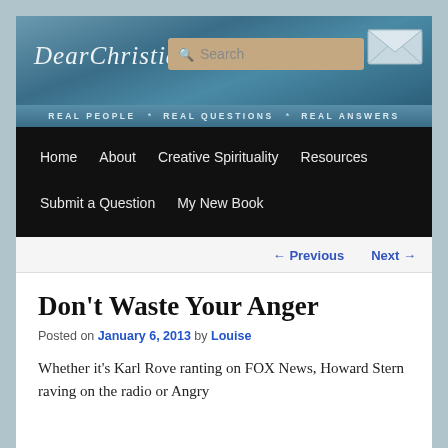[Figure (screenshot): DearChristian website header banner with logo text and search box on blue textured background]
REAL PEOPLE * REAL QUESTIONS * REAL ANSWERS
Home
About
Creative Spirituality
Resources
Submit a Question
My New Book
← Previous   Next →
Don't Waste Your Anger
Posted on January 6, 2013 by Louise
Whether it's Karl Rove ranting on FOX News, Howard Stern raving on the radio or Angry